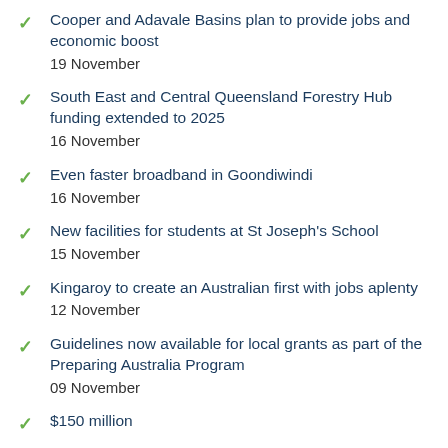Cooper and Adavale Basins plan to provide jobs and economic boost
19 November
South East and Central Queensland Forestry Hub funding extended to 2025
16 November
Even faster broadband in Goondiwindi
16 November
New facilities for students at St Joseph's School
15 November
Kingaroy to create an Australian first with jobs aplenty
12 November
Guidelines now available for local grants as part of the Preparing Australia Program
09 November
$150 million…